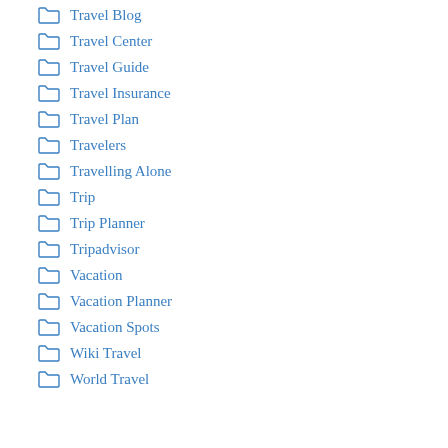Travel Blog
Travel Center
Travel Guide
Travel Insurance
Travel Plan
Travelers
Travelling Alone
Trip
Trip Planner
Tripadvisor
Vacation
Vacation Planner
Vacation Spots
Wiki Travel
World Travel